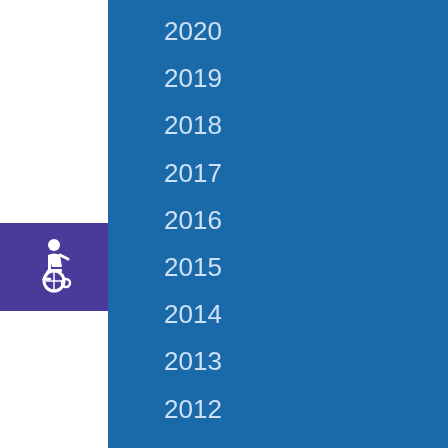2020
2019
2018
2017
[Figure (illustration): Wheelchair accessibility icon - white figure in wheelchair on purple/indigo background]
2016
2015
2014
2013
2012